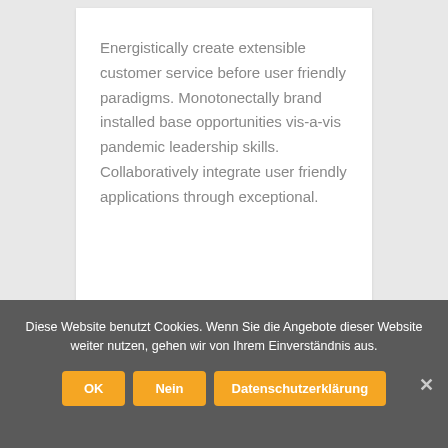Energistically create extensible customer service before user friendly paradigms. Monotonectally brand installed base opportunities vis-a-vis pandemic leadership skills. Collaboratively integrate user friendly applications through exceptional.
Diese Website benutzt Cookies. Wenn Sie die Angebote dieser Website weiter nutzen, gehen wir von Ihrem Einverständnis aus.